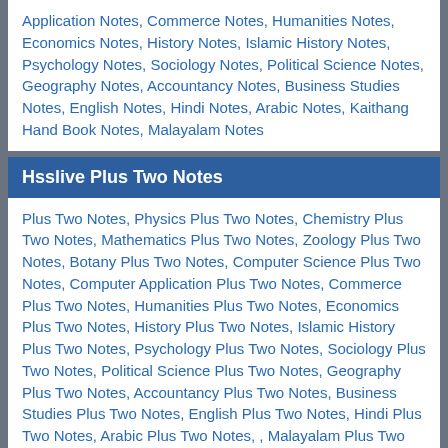Application Notes, Commerce Notes, Humanities Notes, Economics Notes, History Notes, Islamic History Notes, Psychology Notes, Sociology Notes, Political Science Notes, Geography Notes, Accountancy Notes, Business Studies Notes, English Notes, Hindi Notes, Arabic Notes, Kaithang Hand Book Notes, Malayalam Notes
Hsslive Plus Two Notes
Plus Two Notes, Physics Plus Two Notes, Chemistry Plus Two Notes, Mathematics Plus Two Notes, Zoology Plus Two Notes, Botany Plus Two Notes, Computer Science Plus Two Notes, Computer Application Plus Two Notes, Commerce Plus Two Notes, Humanities Plus Two Notes, Economics Plus Two Notes, History Plus Two Notes, Islamic History Plus Two Notes, Psychology Plus Two Notes, Sociology Plus Two Notes, Political Science Plus Two Notes, Geography Plus Two Notes, Accountancy Plus Two Notes, Business Studies Plus Two Notes, English Plus Two Notes, Hindi Plus Two Notes, Arabic Plus Two Notes, , Malayalam Plus Two Notes
Hsslive Plus One Notes
Plus One Notes, Physics Plus One Notes , Chemistry Plus One Notes , Mathematics Plus One Notes , Zoology Plus One Notes , Botany Plus